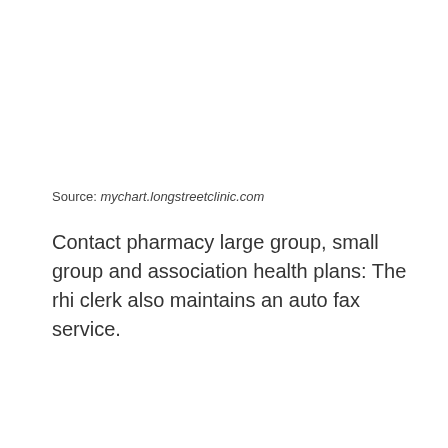Source: mychart.longstreetclinic.com
Contact pharmacy large group, small group and association health plans: The rhi clerk also maintains an auto fax service.